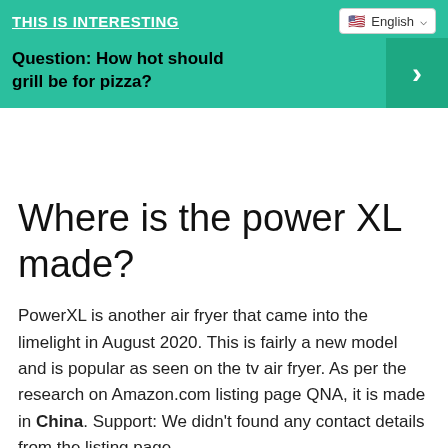THIS IS INTERESTING
Question: How hot should grill be for pizza?
Where is the power XL made?
PowerXL is another air fryer that came into the limelight in August 2020. This is fairly a new model and is popular as seen on the tv air fryer. As per the research on Amazon.com listing page QNA, it is made in China. Support: We didn't found any contact details from the listing page.
How long do you cook a